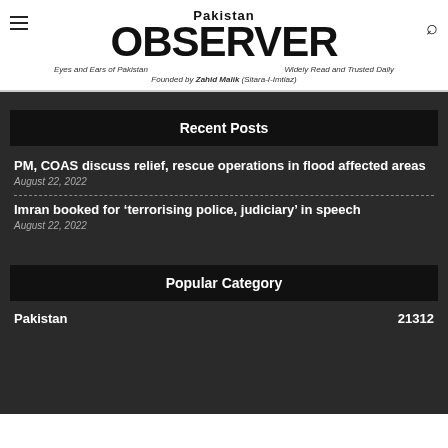Pakistan OBSERVER — Eyes and Ears of Pakistan | Widely Read and Trusted Daily | Founded by Zahid Malik (Sitara-I-Imtiaz)
Recent Posts
PM, COAS discuss relief, rescue operations in flood affected areas
August 22, 2022
Imran booked for 'terrorising police, judiciary' in speech
August 22, 2022
Popular Category
Pakistan 21312